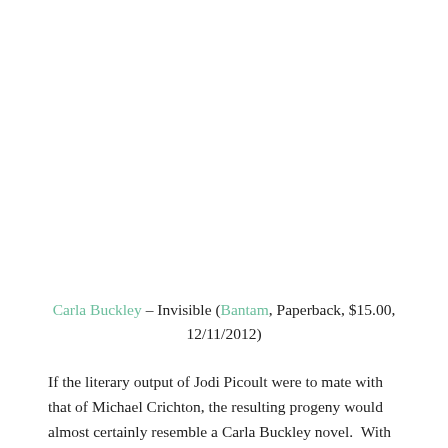Carla Buckley – Invisible (Bantam, Paperback, $15.00, 12/11/2012)
If the literary output of Jodi Picoult were to mate with that of Michael Crichton, the resulting progeny would almost certainly resemble a Carla Buckley novel.  With the publication of Invisible, her second